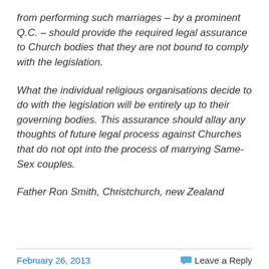from performing such marriages – by a prominent Q.C. – should provide the required legal assurance to Church bodies that they are not bound to comply with the legislation.
What the individual religious organisations decide to do with the legislation will be entirely up to their governing bodies. This assurance should allay any thoughts of future legal process against Churches that do not opt into the process of marrying Same-Sex couples.
Father Ron Smith, Christchurch, new Zealand
February 26, 2013   Leave a Reply